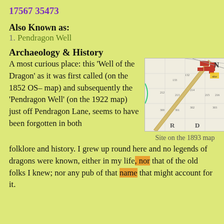17567 35473
Also Known as:
1. Pendragon Well
Archaeology & History
A most curious place:  this 'Well of the Dragon' as it was first called (on the 1852 OS-map) and subsequently the 'Pendragon Well' (on the 1922 map) just off Pendragon Lane, seems to have been forgotten in both folklore and history.  I grew up round here and no legends of dragons were known, either in my life, nor that of the old folks I knew; nor any pub of that name that might account for it.
[Figure (map): Site on the 1893 map showing a historical ordnance survey map excerpt]
Site on the 1893 map